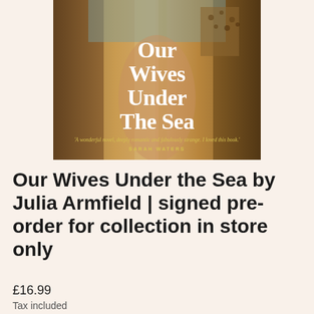[Figure (photo): Book cover of 'Our Wives Under The Sea' by Julia Armfield. The cover shows a golden/bronze toned background with two figures partially visible. Large white serif text reads 'Our Wives Under The Sea'. A yellow italic quote reads 'A wonderful novel, deeply romantic and fabulously strange. I loved this book.' attributed to SARAH WATERS in small caps.]
Our Wives Under the Sea by Julia Armfield | signed pre- order for collection in store only
£16.99
Tax included